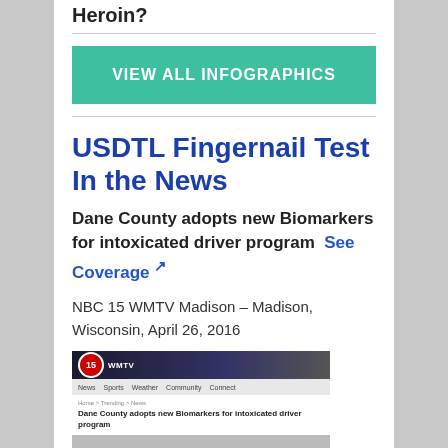Heroin?
[Figure (screenshot): Green button: VIEW ALL INFOGRAPHICS]
USDTL Fingernail Test In the News
Dane County adopts new Biomarkers for intoxicated driver program  See Coverage ↗
NBC 15 WMTV Madison – Madison, Wisconsin, April 26, 2016
[Figure (screenshot): Screenshot of NBC 15 WMTV Madison website showing the headline: Dane County adopts new Biomarkers for intoxicated driver program]